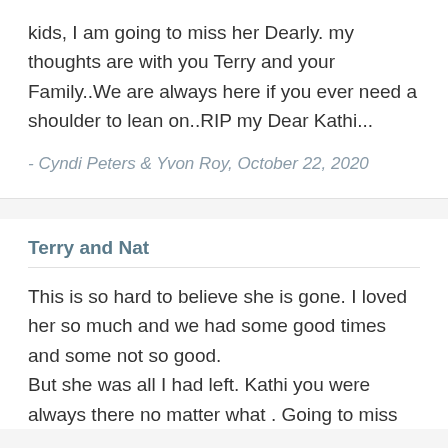kids, I am going to miss her Dearly. my thoughts are with you Terry and your Family..We are always here if you ever need a shoulder to lean on..RIP my Dear Kathi...
- Cyndi Peters & Yvon Roy, October 22, 2020
Terry and Nat
This is so hard to believe she is gone. I loved her so much and we had some good times and some not so good.
But she was all I had left. Kathi you were always there no matter what . Going to miss